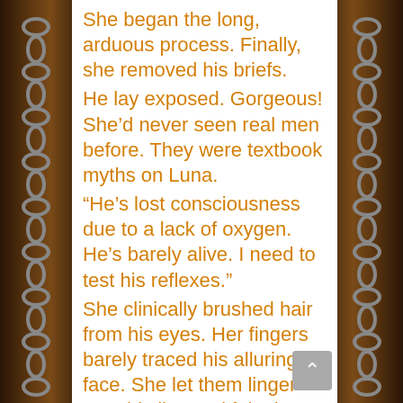She began the long, arduous process. Finally, she removed his briefs.
He lay exposed. Gorgeous! She'd never seen real men before. They were textbook myths on Luna.
“He's lost consciousness due to a lack of oxygen. He's barely alive. I need to test his reflexes.”
She clinically brushed hair from his eyes. Her fingers barely traced his alluring face. She let them linger over his lips and felt air slowly moving in and out of his lungs. Nothing else mattered now